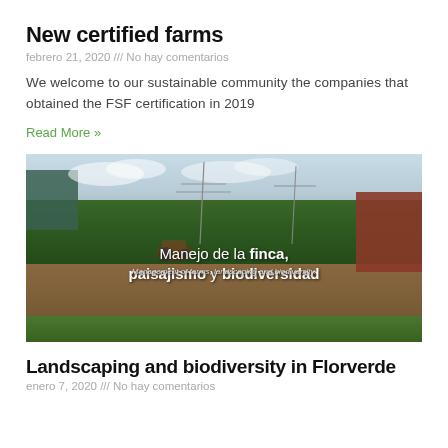New certified farms
febrero 21, 2020 /// No hay comentarios
We welcome to our sustainable community the companies that obtained the FSF certification in 2019
Read More »
[Figure (photo): Outdoor farm scene with hedges, buildings, dirt road and green lawn. Overlaid Spanish text: 'Manejo de la finca, paisajismo y biodiversidad' and English subtitle 'Management of farms, landscaping and biodiversity.']
Landscaping and biodiversity in Florverde
enero 7, 2020 /// No hay comentarios